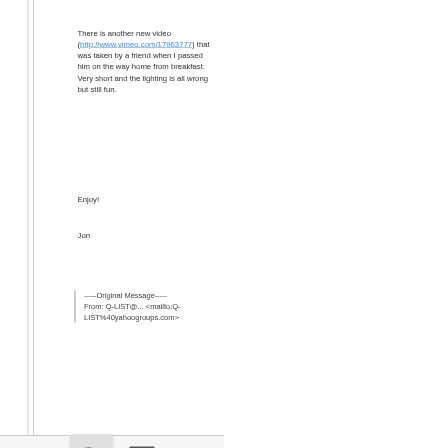There is another new video (http://www.vimeo.com/17963777) that was taken by a friend when I passed him on the way home from breakfast. Very short and the lighting is all wrong but still fun.
Enjoy!
Jon
-----Original Message-----
From: Q-LIST@... <mailto:Q-LIST%40yahoogroups.com>